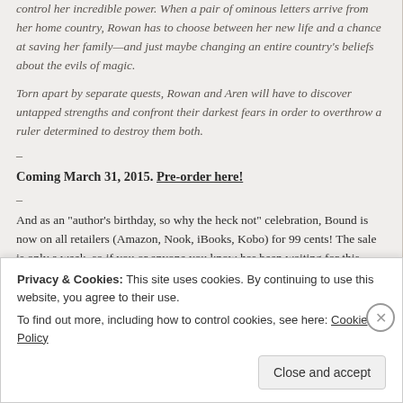control her incredible power. When a pair of ominous letters arrive from her home country, Rowan has to choose between her new life and a chance at saving her family—and just maybe changing an entire country's beliefs about the evils of magic.
Torn apart by separate quests, Rowan and Aren will have to discover untapped strengths and confront their darkest fears in order to overthrow a ruler determined to destroy them both.
–
Coming March 31, 2015. Pre-order here!
–
And as an “author’s birthday, so why the heck not” celebration, Bound is now on all retailers (Amazon, Nook, iBooks, Kobo) for 99 cents! The sale is only a week, so if you or anyone you know has been waiting for this, now would be the time to grab it.
[Figure (photo): A decorative image with a light blue/teal background with glowing bokeh circles and artistic calligraphic swirl designs in dark ink.]
Privacy & Cookies: This site uses cookies. By continuing to use this website, you agree to their use. To find out more, including how to control cookies, see here: Cookie Policy
Close and accept